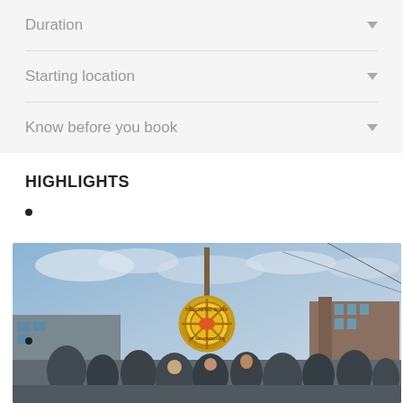Duration
Starting location
Know before you book
HIGHLIGHTS
[Figure (photo): Crowd of tourists at Fisherman's Wharf, San Francisco, with the iconic Fishermans Wharf sign and a tall mast/tower visible against a cloudy sky. Street scene with buildings and shops in background.]